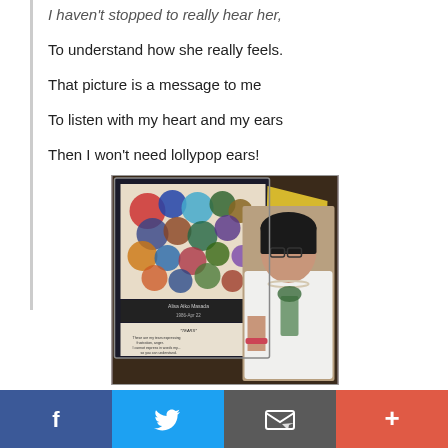I haven't stopped to really hear her,
To understand how she really feels.
That picture is a message to me
To listen with my heart and my ears
Then I won't need lollypop ears!
[Figure (photo): A photo showing a colorful artwork displayed on a screen labeled 'Alisa Aiko Masada 1986-Apr 22' with text panel reading '*TEARS* These are my tears expressing frustration, anger. I cannot express in words my... so you can understand. I pray you can see and... through my art. Please hear me.' A woman with short dark hair, glasses, and a white cardigan with pearl necklace is visible in the right portion of the image.]
f  [Twitter bird]  [Email icon]  +